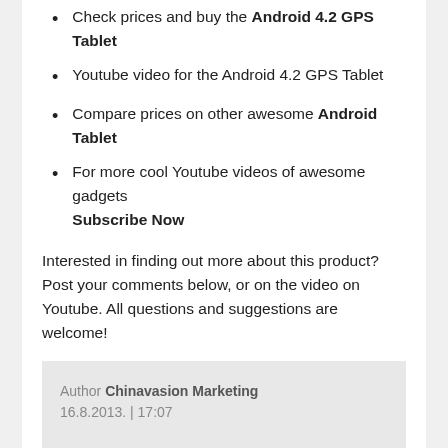Check prices and buy the Android 4.2 GPS Tablet
Youtube video for the Android 4.2 GPS Tablet
Compare prices on other awesome Android Tablet
For more cool Youtube videos of awesome gadgets Subscribe Now
Interested in finding out more about this product? Post your comments below, or on the video on Youtube. All questions and suggestions are welcome!
Author Chinavasion Marketing
16.8.2013. | 17:07
NO COMMENTS
No Comments Yet!